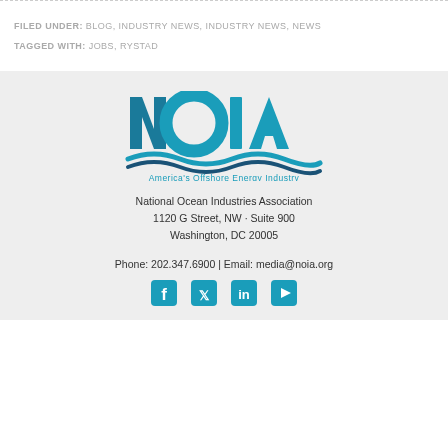FILED UNDER: BLOG, INDUSTRY NEWS, INDUSTRY NEWS, NEWS
TAGGED WITH: JOBS, RYSTAD
[Figure (logo): NOIA logo — National Ocean Industries Association, America's Offshore Energy Industry]
National Ocean Industries Association
1120 G Street, NW · Suite 900
Washington, DC 20005
Phone: 202.347.6900 | Email: media@noia.org
[Figure (other): Social media icons: Facebook, Twitter, LinkedIn, YouTube]